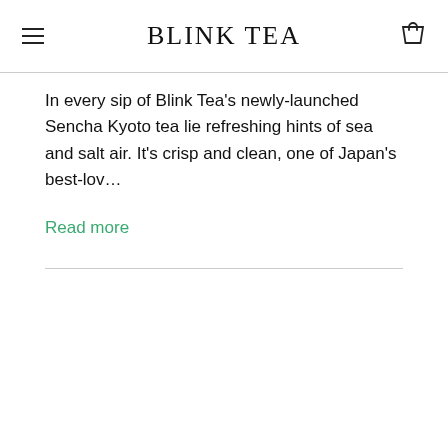BLINK TEA
In every sip of Blink Tea's newly-launched Sencha Kyoto tea lie refreshing hints of sea and salt air. It's crisp and clean, one of Japan's best-lov…
Read more